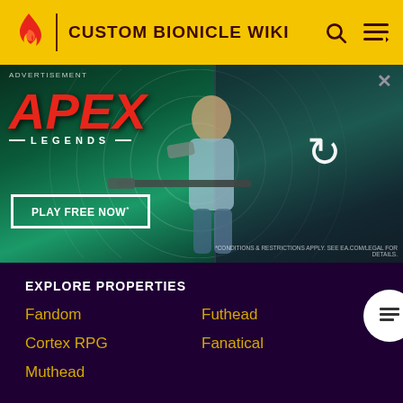CUSTOM BIONICLE WIKI
[Figure (screenshot): Apex Legends advertisement banner with a character holding a sniper rifle on a green background. Text reads APEX LEGENDS, PLAY FREE NOW. Close button (X) in top right. Right half shows a loading/reload icon over a zoomed character face.]
EXPLORE PROPERTIES
Fandom
Futhead
Cortex RPG
Fanatical
Muthead
FOLLOW US